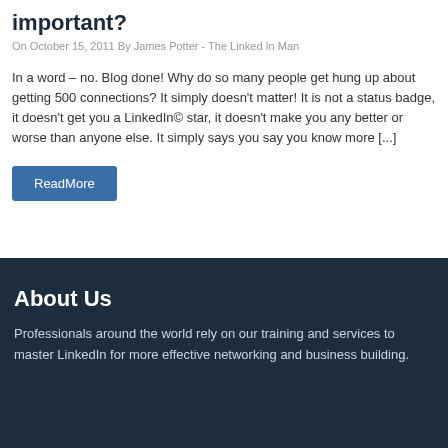important?
On October 15, 2011 By James Potter - The Linked In Man
In a word – no. Blog done! Why do so many people get hung up about getting 500 connections? It simply doesn't matter! It is not a status badge, it doesn't get you a LinkedIn© star, it doesn't make you any better or worse than anyone else. It simply says you say you know more [...]
ReadMore
About Us
Professionals around the world rely on our training and services to master LinkedIn for more effective networking and business building.